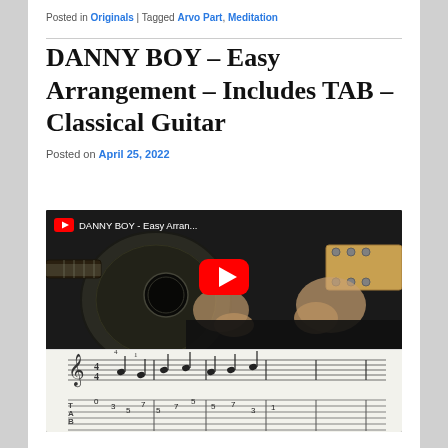Posted in Originals | Tagged Arvo Part, Meditation
DANNY BOY – Easy Arrangement – Includes TAB – Classical Guitar
Posted on April 25, 2022
[Figure (screenshot): YouTube video thumbnail showing a person playing classical guitar with sheet music/TAB at the bottom. Video title reads 'DANNY BOY - Easy Arran...' with a red YouTube play button in the center.]